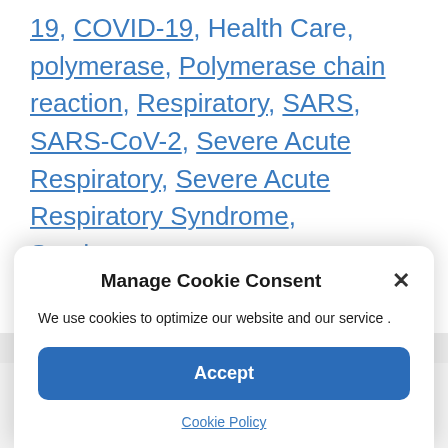19, COVID-19, Health Care, polymerase, Polymerase chain reaction, Respiratory, SARS, SARS-CoV-2, Severe Acute Respiratory, Severe Acute Respiratory Syndrome, Syndrome
Leave a comment
Manage Cookie Consent
We use cookies to optimize our website and our service .
Accept
Cookie Policy